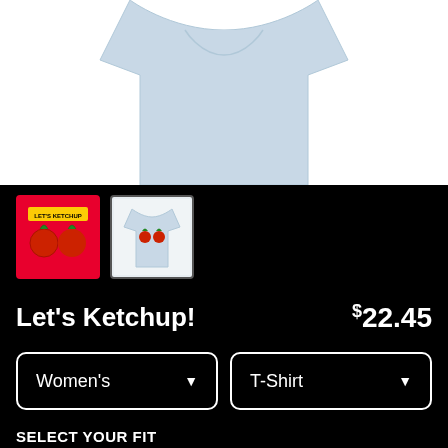[Figure (photo): Top portion of a light blue women's t-shirt product image on white background]
[Figure (photo): Thumbnail 1: Red background with two tomatoes graphic (ketchup design). Thumbnail 2: Light blue t-shirt with tomato graphic on white background.]
Let's Ketchup!
$22.45
Women's
T-Shirt
SELECT YOUR FIT
$22.45 Fitted
$28.95 Triblend